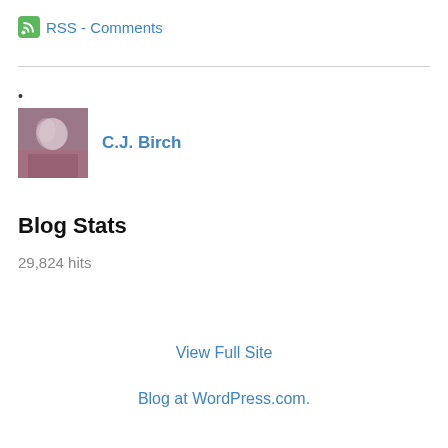RSS - Comments
•
C.J. Birch
Blog Stats
29,824 hits
View Full Site
Blog at WordPress.com.